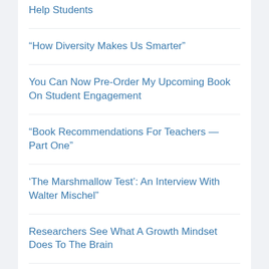Help Students
“How Diversity Makes Us Smarter”
You Can Now Pre-Order My Upcoming Book On Student Engagement
“Book Recommendations For Teachers — Part One”
‘The Marshmallow Test’: An Interview With Walter Mischel”
Researchers See What A Growth Mindset Does To The Brain
VERY Interesting Info On The Results Of KIPP’s “Character Education” Program